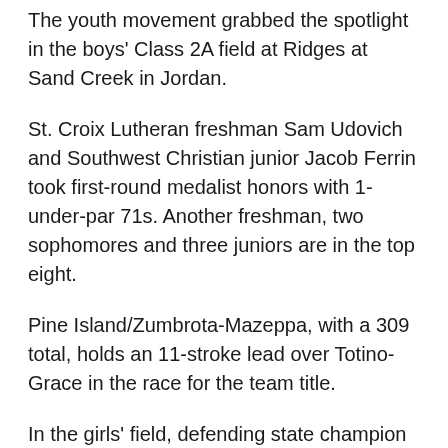The youth movement grabbed the spotlight in the boys' Class 2A field at Ridges at Sand Creek in Jordan.
St. Croix Lutheran freshman Sam Udovich and Southwest Christian junior Jacob Ferrin took first-round medalist honors with 1-under-par 71s. Another freshman, two sophomores and three juniors are in the top eight.
Pine Island/Zumbrota-Mazeppa, with a 309 total, holds an 11-stroke lead over Totino-Grace in the race for the team title.
In the girls' field, defending state champion senior Mallory Belka shot a 4-over 76 to grab a two-shot lead.
Lake City is running away with the team title as